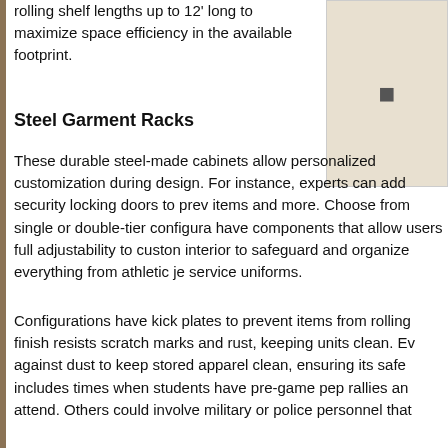rolling shelf lengths up to 12' long to maximize space efficiency in the available footprint.
[Figure (photo): Product image partially visible on the right side of the page]
Steel Garment Racks
These durable steel-made cabinets allow personalized customization during design. For instance, experts can add security locking doors to prev items and more. Choose from single or double-tier configura have components that allow users full adjustability to custon interior to safeguard and organize everything from athletic je service uniforms.
Configurations have kick plates to prevent items from rolling finish resists scratch marks and rust, keeping units clean. Ev against dust to keep stored apparel clean, ensuring its safe includes times when students have pre-game pep rallies an attend. Others could involve military or police personnel that